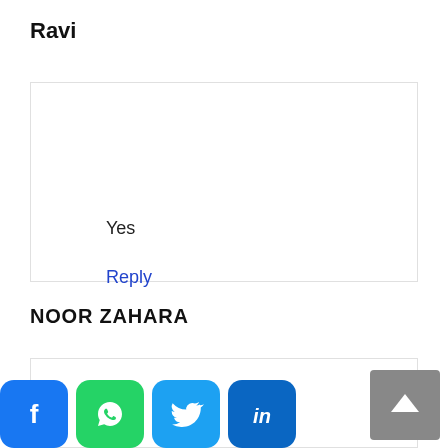Ravi
Yes
Reply
NOOR ZAHARA
[Figure (other): Social media share icons: Facebook, WhatsApp, Twitter, LinkedIn and a scroll-to-top button]